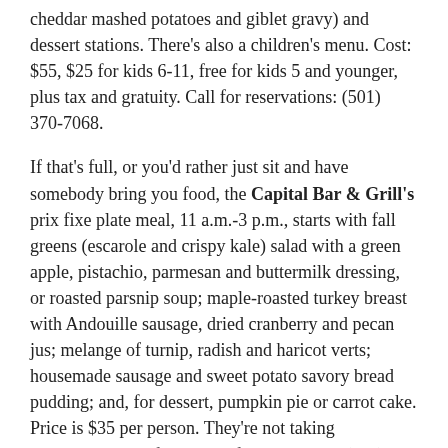cheddar mashed potatoes and giblet gravy) and dessert stations. There's also a children's menu. Cost: $55, $25 for kids 6-11, free for kids 5 and younger, plus tax and gratuity. Call for reservations: (501) 370-7068.
If that's full, or you'd rather just sit and have somebody bring you food, the Capital Bar & Grill's prix fixe plate meal, 11 a.m.-3 p.m., starts with fall greens (escarole and crispy kale) salad with a green apple, pistachio, parmesan and buttermilk dressing, or roasted parsnip soup; maple-roasted turkey breast with Andouille sausage, dried cranberry and pecan jus; melange of turnip, radish and haricot verts; housemade sausage and sweet potato savory bread pudding; and, for dessert, pumpkin pie or carrot cake. Price is $35 per person. They're not taking reservations, but for more information, call (501) 370-7068.
And the hotel is also offering "Holiday Turkey to Go," a pre-prepped Thanksgiving meal -- a whole traditional tom turkey